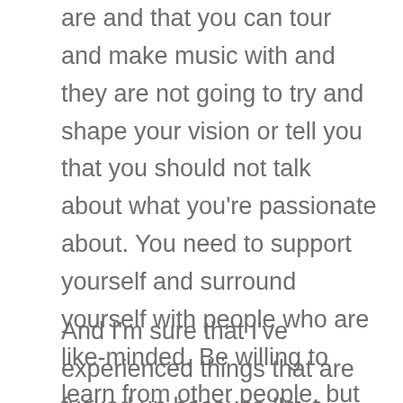are and that you can tour and make music with and they are not going to try and shape your vision or tell you that you should not talk about what you're passionate about. You need to support yourself and surround yourself with people who are like-minded. Be willing to learn from other people, but at the end of the day, unfair standards are always going to be there, and that sucks [laughter]. But if you're with people who say messed up things or treat you differently or like you or others don't belong, or treat you or describe you like a caricature, that's not acceptable. We've seen that recently.
And I'm sure that I've experienced things that are fucked up because I'm a woman, but I also know that what I've experienced is not the same and not as bad as what those who are trans, queer, of color